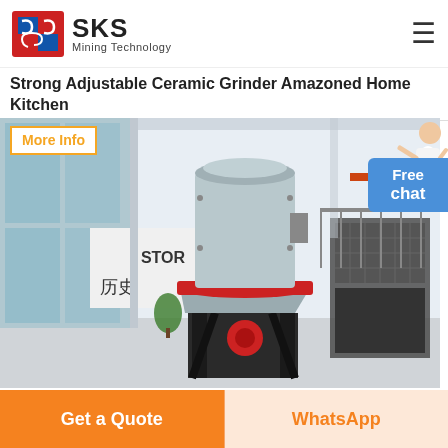[Figure (logo): SKS Mining Technology logo with red-blue geometric icon and company name]
Strong Adjustable Ceramic Grinder Amazoned Home Kitchen
More Info
[Figure (photo): Large industrial cone crusher machine displayed in a modern exhibition hall with glass walls, red accent ring, and Chinese text 历史 (History) visible on a sign in the background]
Free chat
Get a Quote
WhatsApp